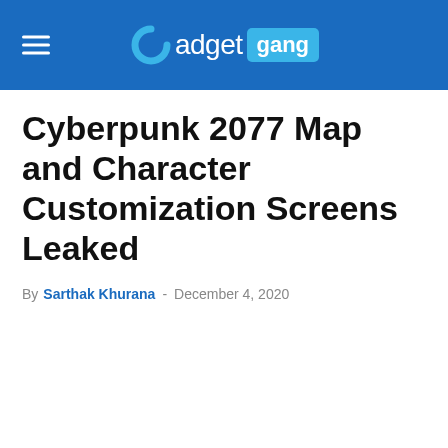Gadget Gang
Cyberpunk 2077 Map and Character Customization Screens Leaked
By Sarthak Khurana - December 4, 2020